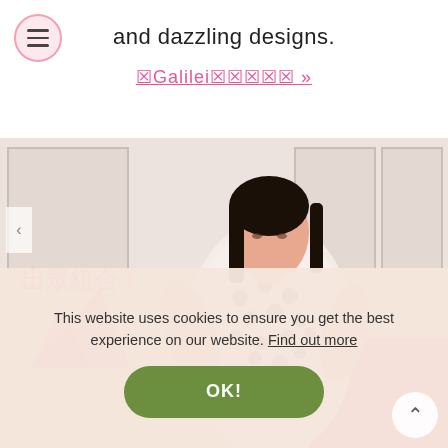and dazzling designs.
☒Galilei☒☒☒☒☒ »
[Figure (photo): A young Asian woman wearing a white polka-dot top, posing with arms spread in a bright room with white paneled walls. Pink geometric shapes and a shopping bag appear in the foreground. Pink text in Chinese characters reads '出眾組合！' (Outstanding combination!).]
This website uses cookies to ensure you get the best experience on our website. Find out more
OK!